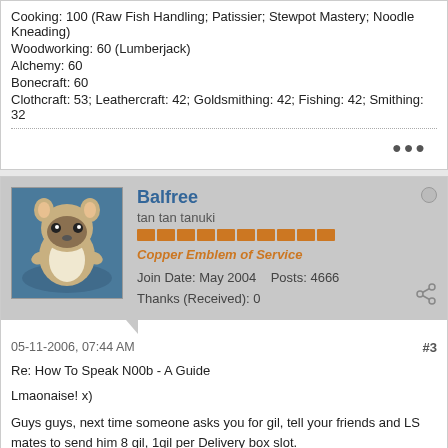Cooking: 100 (Raw Fish Handling; Patissier; Stewpot Mastery; Noodle Kneading)
Woodworking: 60 (Lumberjack)
Alchemy: 60
Bonecraft: 60
Clothcraft: 53; Leathercraft: 42; Goldsmithing: 42; Fishing: 42; Smithing: 32
Balfree
tan tan tanuki
Copper Emblem of Service
Join Date: May 2004    Posts: 4666
Thanks (Received): 0
05-11-2006, 07:44 AM
#3
Re: How To Speak N00b - A Guide
Lmaonaise! x)
Guys guys, next time someone asks you for gil, tell your friends and LS mates to send him 8 gil, 1gil per Delivery box slot.
signatures are for pussies mew mew mew, here's mine